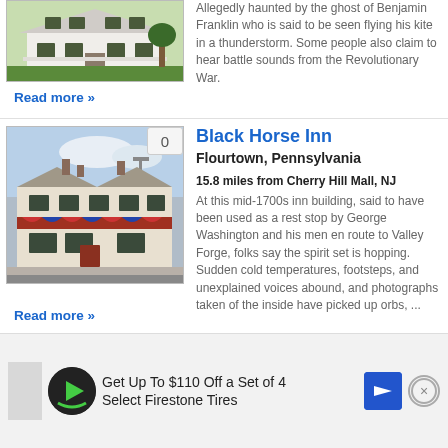[Figure (photo): White farmhouse with green lawn and shutters]
Allegedly haunted by the ghost of Benjamin Franklin who is said to be seen flying his kite in a thunderstorm. Some people also claim to hear battle sounds from the Revolutionary War.
Read more »
[Figure (photo): Black Horse Inn building in Flourtown Pennsylvania, mid-1700s inn with red awning and decorative bunting]
Black Horse Inn
Flourtown, Pennsylvania
15.8 miles from Cherry Hill Mall, NJ
At this mid-1700s inn building, said to have been used as a rest stop by George Washington and his men en route to Valley Forge, folks say the spirit set is hopping. Sudden cold temperatures, footsteps, and unexplained voices abound, and photographs taken of the inside have picked up orbs, ...
Read more »
Get Up To $110 Off a Set of 4 Select Firestone Tires